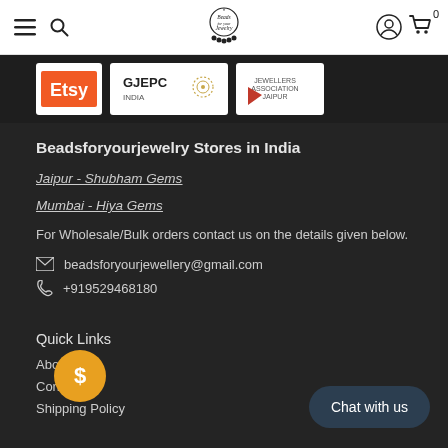Navigation bar with hamburger menu, search icon, Beads for your Jewelry logo, account icon, and cart icon (0 items)
[Figure (logo): Partner logos strip: Etsy (orange), GJEPC India, Jewellers Association Jaipur]
Beadsforyourjewelry Stores in India
Jaipur - Shubham Gems
Mumbai - Hiya Gems
For Wholesale/Bulk orders contact us on the details given below.
beadsforyourjewellery@gmail.com
+919529468180
Quick Links
About
Contacts
Shipping Policy
Chat with us